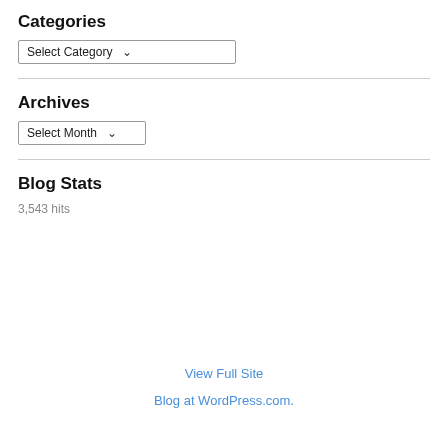Categories
Select Category
Archives
Select Month
Blog Stats
3,543 hits
View Full Site
Blog at WordPress.com.